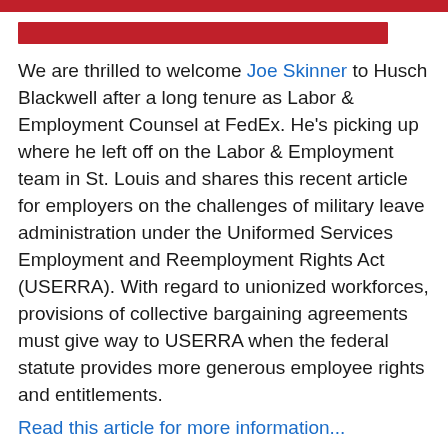We are thrilled to welcome Joe Skinner to Husch Blackwell after a long tenure as Labor & Employment Counsel at FedEx. He's picking up where he left off on the Labor & Employment team in St. Louis and shares this recent article for employers on the challenges of military leave administration under the Uniformed Services Employment and Reemployment Rights Act (USERRA). With regard to unionized workforces, provisions of collective bargaining agreements must give way to USERRA when the federal statute provides more generous employee rights and entitlements.
Read this article for more information...